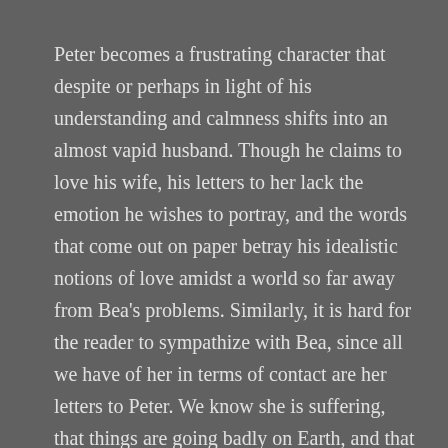Peter becomes a frustrating character that despite or perhaps in light of his understanding and calmness shifts into an almost vapid husband. Though he claims to love his wife, his letters to her lack the emotion he wishes to portray, and the words that come out on paper betray his idealistic notions of love amidst a world so far away from Bea's problems. Similarly, it is hard for the reader to sympathize with Bea, since all we have of her in terms of contact are her letters to Peter. We know she is suffering, that things are going badly on Earth, and that she is not getting the emotional support that she needs from Peter, but we also see her lack of understanding for her husband's issues on a planet that she can't even conceive of. Both lovers are caught in their own worlds, unable to understand, sympathize or